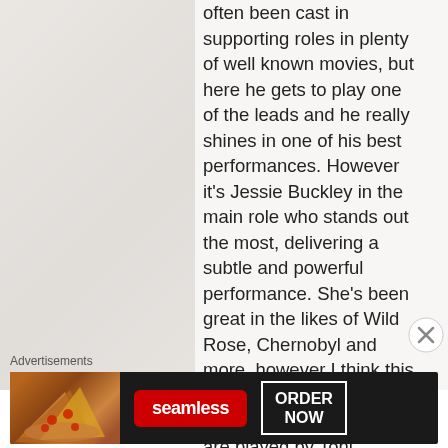often been cast in supporting roles in plenty of well known movies, but here he gets to play one of the leads and he really shines in one of his best performances. However it’s Jessie Buckley in the main role who stands out the most, delivering a subtle and powerful performance. She’s been great in the likes of Wild Rose, Chernobyl and more, however I think this is her best work. The parents of Jesse Plemons are played by Toni Collette and David Thewlis, and both are fantastic in their
Advertisements
[Figure (other): Seamless food delivery advertisement banner showing pizza slices on the left, a red Seamless logo in the center, and an 'ORDER NOW' button on the right, against a dark background.]